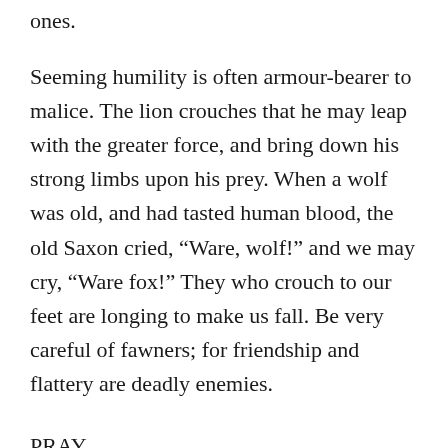ones.
Seeming humility is often armour-bearer to malice. The lion crouches that he may leap with the greater force, and bring down his strong limbs upon his prey. When a wolf was old, and had tasted human blood, the old Saxon cried, “Ware, wolf!” and we may cry, “Ware fox!” They who crouch to our feet are longing to make us fall. Be very careful of fawners; for friendship and flattery are deadly enemies.
PRAY.
If you do not know the Lord as your Saviour, how